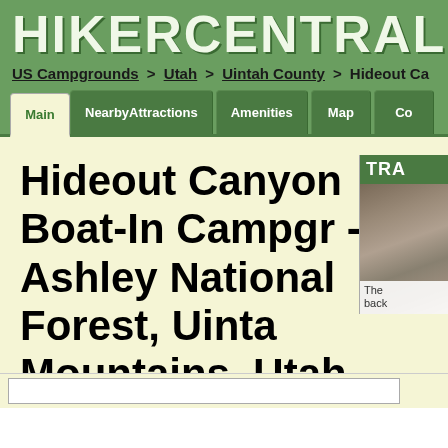HIKERCENTRAL
US Campgrounds > Utah > Uintah County > Hideout Ca...
Main | Nearby Attractions | Amenities | Map | Co...
Hideout Canyon Boat-In Campgr - Ashley National Forest, Uinta Mountains, Utah
[Figure (photo): Photo thumbnail showing a trail or campground scene, with caption text 'The back...']